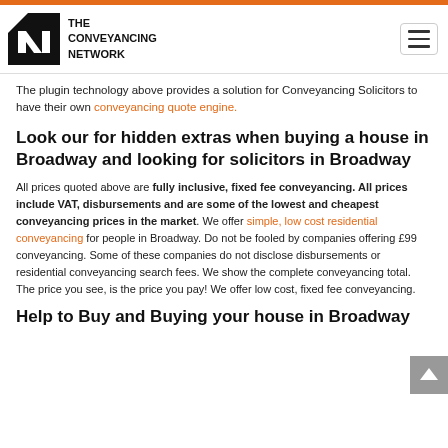THE CONVEYANCING NETWORK
The plugin technology above provides a solution for Conveyancing Solicitors to have their own conveyancing quote engine.
Look our for hidden extras when buying a house in Broadway and looking for solicitors in Broadway
All prices quoted above are fully inclusive, fixed fee conveyancing. All prices include VAT, disbursements and are some of the lowest and cheapest conveyancing prices in the market. We offer simple, low cost residential conveyancing for people in Broadway. Do not be fooled by companies offering £99 conveyancing. Some of these companies do not disclose disbursements or residential conveyancing search fees. We show the complete conveyancing total. The price you see, is the price you pay! We offer low cost, fixed fee conveyancing.
Help to Buy and Buying your house in Broadway